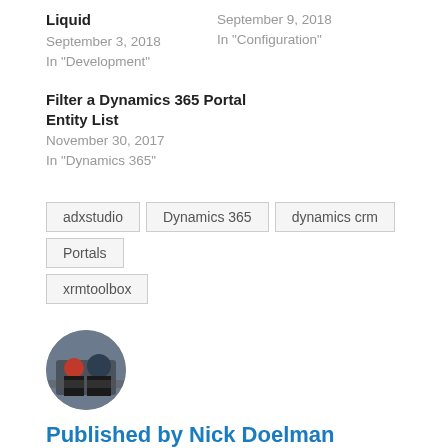Liquid
September 3, 2018
In "Development"
September 9, 2018
In "Configuration"
Filter a Dynamics 365 Portal Entity List
November 30, 2017
In "Dynamics 365"
adxstudio
Dynamics 365
dynamics crm
Portals
xrmtoolbox
[Figure (photo): Circular avatar photo of Nick Doelman]
Published by Nick Doelman
Former Microsoft Business Applications MVP, Power Platform and Technology enthusiast. Powerlifter. View all posts by Nick